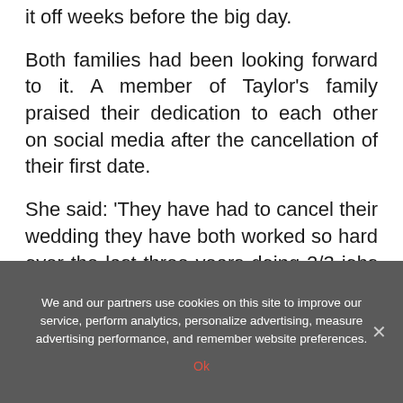it off weeks before the big day.
Both families had been looking forward to it. A member of Taylor’s family praised their dedication to each other on social media after the cancellation of their first date.
She said: ‘They have had to cancel their wedding they have both worked so hard over the last three years doing 2/3 jobs each but they are both happy and healthy
We and our partners use cookies on this site to improve our service, perform analytics, personalize advertising, measure advertising performance, and remember website preferences.
Ok